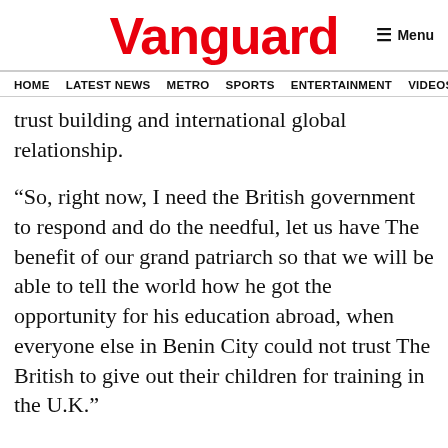Vanguard
Menu
HOME  LATEST NEWS  METRO  SPORTS  ENTERTAINMENT  VIDEOS
trust building and international global relationship.
“So, right now, I need the British government to respond and do the needful, let us have The benefit of our grand patriarch so that we will be able to tell the world how he got the opportunity for his education abroad, when everyone else in Benin City could not trust The British to give out their children for training in the U.K.”